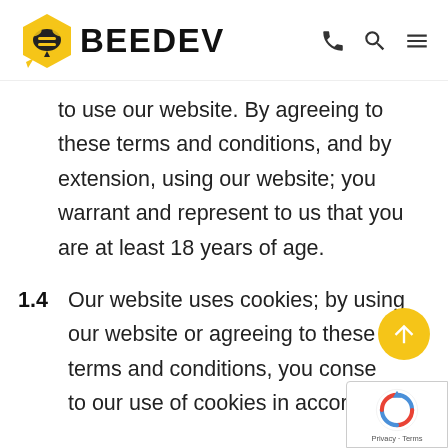BEEDEV
to use our website. By agreeing to these terms and conditions, and by extension, using our website; you warrant and represent to us that you are at least 18 years of age.
1.4  Our website uses cookies; by using our website or agreeing to these terms and conditions, you conse to our use of cookies in accordance